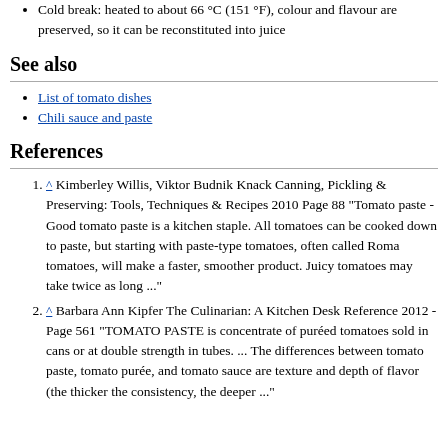Cold break: heated to about 66 °C (151 °F), colour and flavour are preserved, so it can be reconstituted into juice
See also
List of tomato dishes
Chili sauce and paste
References
^ Kimberley Willis, Viktor Budnik Knack Canning, Pickling & Preserving: Tools, Techniques & Recipes 2010 Page 88 "Tomato paste - Good tomato paste is a kitchen staple. All tomatoes can be cooked down to paste, but starting with paste-type tomatoes, often called Roma tomatoes, will make a faster, smoother product. Juicy tomatoes may take twice as long ..."
^ Barbara Ann Kipfer The Culinarian: A Kitchen Desk Reference 2012 - Page 561 "TOMATO PASTE is concentrate of puréed tomatoes sold in cans or at double strength in tubes. ... The differences between tomato paste, tomato purée, and tomato sauce are texture and depth of flavor (the thicker the consistency, the deeper ..."